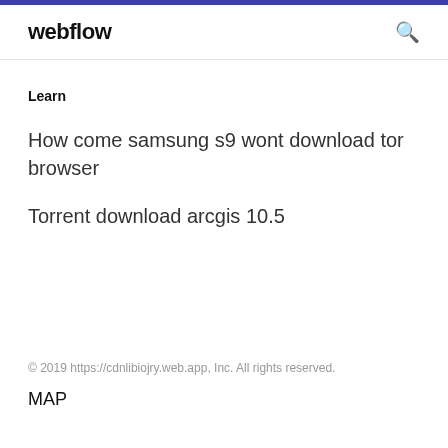webflow
Learn
How come samsung s9 wont download tor browser
Torrent download arcgis 10.5
© 2019 https://cdnlibiojry.web.app, Inc. All rights reserved.
MAP